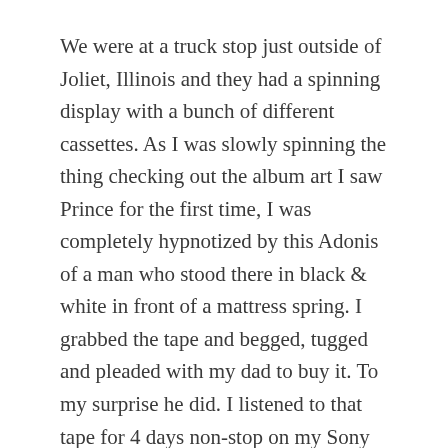We were at a truck stop just outside of Joliet, Illinois and they had a spinning display with a bunch of different cassettes. As I was slowly spinning the thing checking out the album art I saw Prince for the first time, I was completely hypnotized by this Adonis of a man who stood there in black & white in front of a mattress spring. I grabbed the tape and begged, tugged and pleaded with my dad to buy it. To my surprise he did. I listened to that tape for 4 days non-stop on my Sony Walkman… I memorized every note, every sound, every rhythmic vibration he laid down